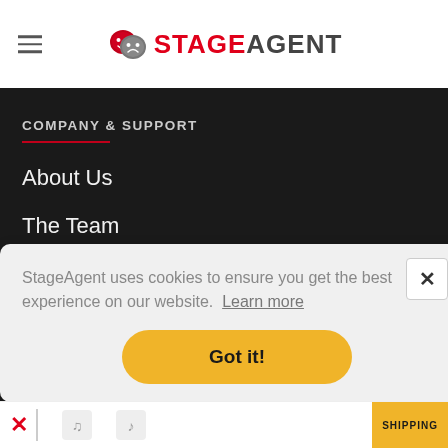StageAgent
COMPANY & SUPPORT
About Us
The Team
Careers
Advertising
Help
StageAgent uses cookies to ensure you get the best experience on our website.  Learn more
Got it!